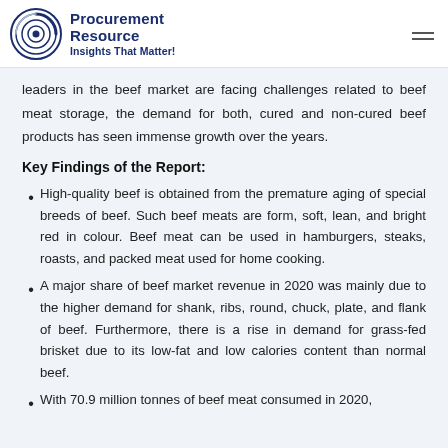Procurement Resource – Insights That Matter!
leaders in the beef market are facing challenges related to beef meat storage, the demand for both, cured and non-cured beef products has seen immense growth over the years.
Key Findings of the Report:
High-quality beef is obtained from the premature aging of special breeds of beef. Such beef meats are form, soft, lean, and bright red in colour. Beef meat can be used in hamburgers, steaks, roasts, and packed meat used for home cooking.
A major share of beef market revenue in 2020 was mainly due to the higher demand for shank, ribs, round, chuck, plate, and flank of beef. Furthermore, there is a rise in demand for grass-fed brisket due to its low-fat and low calories content than normal beef.
With 70.9 million tonnes of beef meat consumed in 2020,